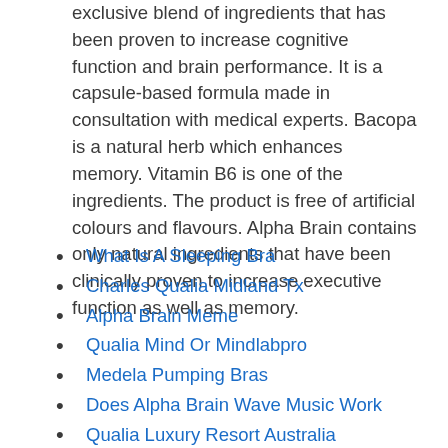exclusive blend of ingredients that has been proven to increase cognitive function and brain performance. It is a capsule-based formula made in consultation with medical experts. Bacopa is a natural herb which enhances memory. Vitamin B6 is one of the ingredients. The product is free of artificial colours and flavours. Alpha Brain contains only natural ingredients that have been clinically proven to increase executive function as well as memory.
What Is A Sleeping Bra
Charles Qualia Midland Tx
Alpha Brain Meme
Qualia Mind Or Mindlabpro
Medela Pumping Bras
Does Alpha Brain Wave Music Work
Qualia Luxury Resort Australia